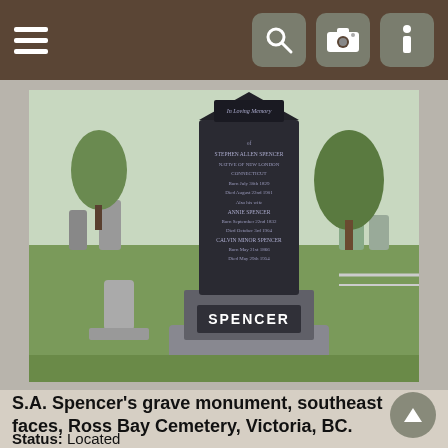Navigation bar with hamburger menu and icons for search, camera, and info
[Figure (photo): Photograph of S.A. Spencer's grave monument at Ross Bay Cemetery, Victoria, BC. A tall dark stone obelisk with inscriptions including 'In Loving Memory of Stephen Allen Spencer, Native of New London Connecticut, Born July 30th 1829, Died August 22nd 1901, Also his wife Annie Spencer, Born September 22nd 1832, Died October 3rd 1904, Calvin Minor Spencer, Born May 21st 1866, Died May 29th 1954.' The base of the monument reads 'SPENCER' in large letters. The cemetery grounds with grass and trees are visible in the background.]
S.A. Spencer's grave monument, southeast faces, Ross Bay Cemetery, Victoria, BC.
Status: Located